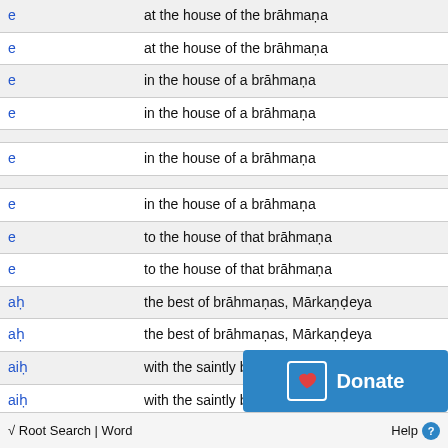|  |  |
| --- | --- |
| e | at the house of the brāhmaṇa |
| e | at the house of the brāhmaṇa |
| e | in the house of a brāhmaṇa |
| e | in the house of a brāhmaṇa |
|  |  |
| e | in the house of a brāhmaṇa |
|  |  |
| e | in the house of a brāhmaṇa |
| e | to the house of that brāhmaṇa |
| e | to the house of that brāhmaṇa |
| aḥ | the best of brāhmaṇas, Mārkaṇḍeya |
| aḥ | the best of brāhmaṇas, Mārkaṇḍeya |
| aiḥ | with the saintly brāhmaṇa... |
| aiḥ | with the saintly brāhmaṇa... |
[Figure (screenshot): Donate button overlay with heart icon]
√ Root Search | Word    Help